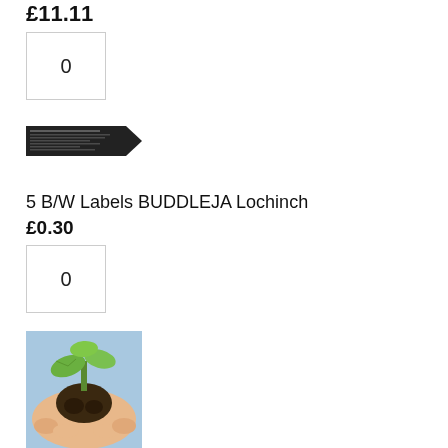£11.11
0
[Figure (photo): A product label for BUDDLEJA Lochinch in black and white with arrow-shaped label design]
5 B/W Labels BUDDLEJA Lochinch
£0.30
0
[Figure (photo): A photo of a hand holding a plug plant seedling with green leaves and dark soil root ball]
10 Plug Plants BUDDLEJA Lochinch
£18.56